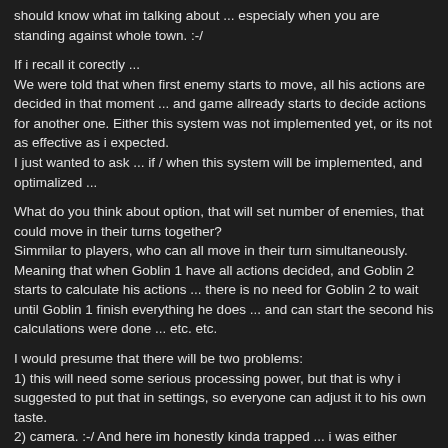should know what im talking about ... especialy when you are standing against whole town. :-/
If i recall it corectly ...
We were told that when first enemy starts to move, all his actions are decided in that moment ... and game allready starts to decide actions for another one. Either this system was not implemented yet, or its not as effective as i expected.
I just wanted to ask ... if / when this system will be implemented, and optimalized ...
What do you think about option, that will set number of enemies, that could move in their turns together?
Simmilar to players, who can all move in their turn simultaneously.
Meaning that when Goblin 1 have all actions decided, and Goblin 2 starts to calculate his actions ... there is no need for Goblin 2 to wait until Goblin 1 finish everything he does ... and can start the second his calculations were done ... etc. etc.
I would presume that there will be two problems:
1) this will need some serious processing power, but that is why i suggested to put that in settings, so everyone can adjust it to his own taste.
2) camera. :-/ And here im honestly kinda trapped ... i was either wondering about "allways tactical camera while enemy turn" ... or enemies only moving "off screen" but still waiting for each other to attack.